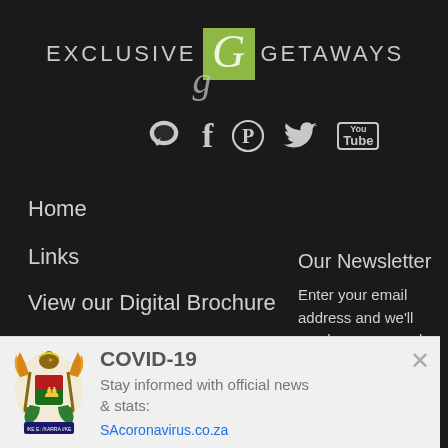[Figure (logo): Exclusive Getaways logo with stylized G in green box and cursive G below, with social media icons (chat, Facebook, Pinterest, Twitter, YouTube)]
Home
Links
View our Digital Brochure
About Us
Contact Us
Our Newsletter
Enter your email address and we'll send you our regular promotional emails, packed with special offers, great deals, and
[Figure (infographic): COVID-19 banner with South African coat of arms. Text: COVID-19 Stay informed with official news & stats: SAcoronavirus.co.za]